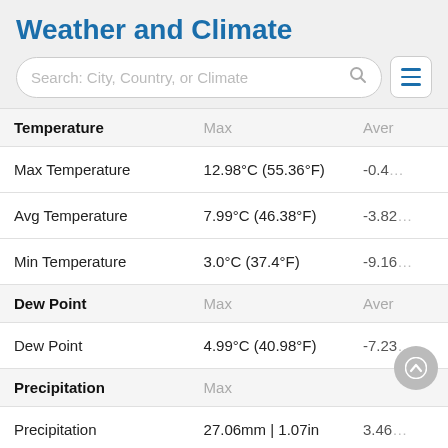Weather and Climate
| Temperature | Max | Aver |
| --- | --- | --- |
| Max Temperature | 12.98°C (55.36°F) | -0.4… |
| Avg Temperature | 7.99°C (46.38°F) | -3.82… |
| Min Temperature | 3.0°C (37.4°F) | -9.16… |
| Dew Point (header) | Max | Aver |
| Dew Point | 4.99°C (40.98°F) | -7.23… |
| Precipitation (header) | Max |  |
| Precipitation | 27.06mm | 1.07in | 3.46… |